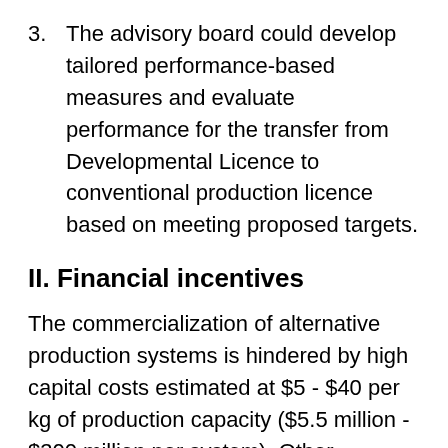3. The advisory board could develop tailored performance-based measures and evaluate performance for the transfer from Developmental Licence to conventional production licence based on meeting proposed targets.
II. Financial incentives
The commercialization of alternative production systems is hindered by high capital costs estimated at $5 - $40 per kg of production capacity ($5.5 million - $300 million per system). Other hindrances include permitting risks (e.g., uncertain